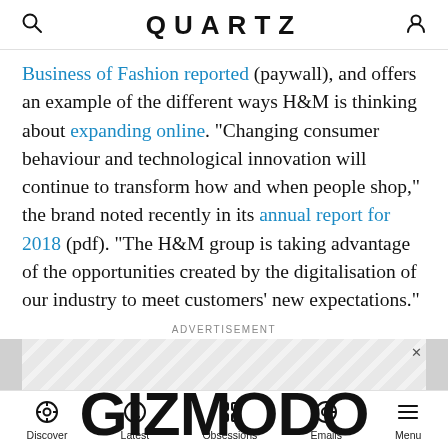QUARTZ
Business of Fashion reported (paywall), and offers an example of the different ways H&M is thinking about expanding online. “Changing consumer behaviour and technological innovation will continue to transform how and when people shop,” the brand noted recently in its annual report for 2018 (pdf). “The H&M group is taking advantage of the opportunities created by the digitalisation of our industry to meet customers’ new expectations.”
[Figure (other): Advertisement banner showing Gizmodo logo on a striped grey background]
Discover | Latest | Obsessions | Emails | Menu